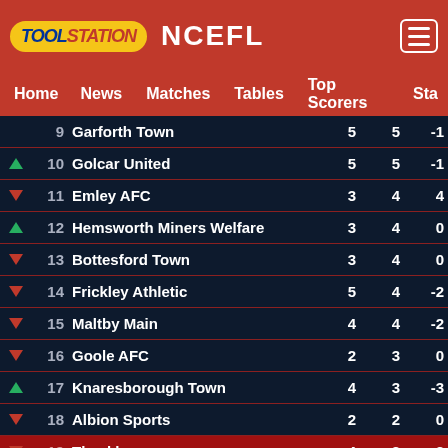TOOLSTATION NCEFL
Home  News  Matches  Tables  Top Scorers  Sta
|  | Pos | Team |  |  | GD |
| --- | --- | --- | --- | --- | --- |
|  | 9 | Garforth Town | 5 | 5 | -1 |
| ▲ | 10 | Golcar United | 5 | 5 | -1 |
| ▼ | 11 | Emley AFC | 3 | 4 | 4 |
| ▲ | 12 | Hemsworth Miners Welfare | 3 | 4 | 0 |
| ▼ | 13 | Bottesford Town | 3 | 4 | 0 |
| ▼ | 14 | Frickley Athletic | 5 | 4 | -2 |
| ▼ | 15 | Maltby Main | 4 | 4 | -2 |
| ▼ | 16 | Goole AFC | 2 | 3 | 0 |
| ▲ | 17 | Knaresborough Town | 4 | 3 | -3 |
| ▼ | 18 | Albion Sports | 2 | 2 | 0 |
| ▼ | 19 | Thackley | 4 | 2 | -3 |